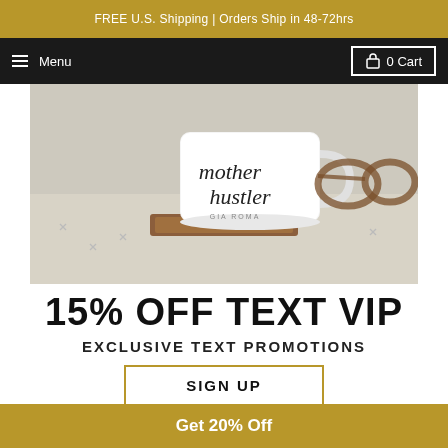FREE U.S. Shipping | Orders Ship in 48-72hrs
Menu | 0 Cart
[Figure (photo): Photo of a white ceramic mug with cursive text reading 'mother hustler' and 'GIA ROMA', placed on a wooden coaster, with linen fabric and tortoiseshell glasses in the background]
15% OFF TEXT VIP
EXCLUSIVE TEXT PROMOTIONS
SIGN UP
Get 20% Off